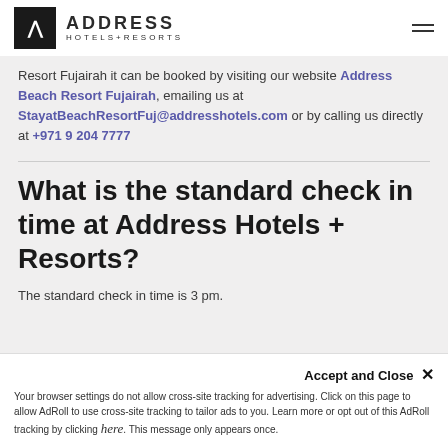ADDRESS HOTELS+RESORTS
Resort Fujairah it can be booked by visiting our website Address Beach Resort Fujairah, emailing us at StayatBeachResortFuj@addresshotels.com or by calling us directly at +971 9 204 7777
What is the standard check in time at Address Hotels + Resorts?
The standard check in time is 3 pm.
Accept and Close ✕ Your browser settings do not allow cross-site tracking for advertising. Click on this page to allow AdRoll to use cross-site tracking to tailor ads to you. Learn more or opt out of this AdRoll tracking by clicking here. This message only appears once.